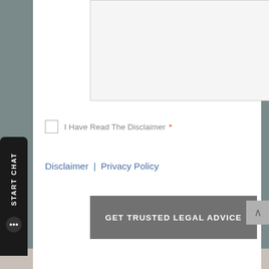[Figure (screenshot): Textarea input field (empty) for a web form on a legal advice website, with resize handle at bottom right]
I Have Read The Disclaimer *
Disclaimer | Privacy Policy
GET TRUSTED LEGAL ADVICE